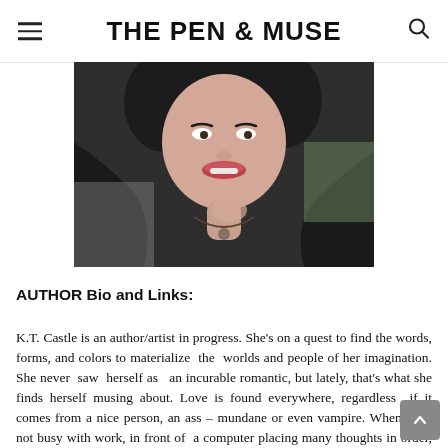THE PEN & MUSE
[Figure (photo): Cropped photo of a woman smiling, wearing a black outfit with a necklace, dark hair, against a blurred outdoor background.]
AUTHOR Bio and Links:
K.T. Castle is an author/artist in progress. She's on a quest to find the words, forms, and colors to materialize the worlds and people of her imagination. She never saw herself as an incurable romantic, but lately, that's what she finds herself musing about. Love is found everywhere, regardless if it comes from a nice person, an ass – mundane or even vampire. When she's not busy with work, in front of a computer placing many thoughts in order, she makes her best to be creative or relax with a good book and a snack. Some of her